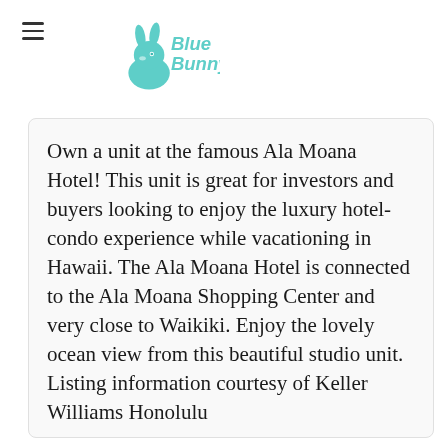Blue Bunny
Own a unit at the famous Ala Moana Hotel! This unit is great for investors and buyers looking to enjoy the luxury hotel-condo experience while vacationing in Hawaii. The Ala Moana Hotel is connected to the Ala Moana Shopping Center and very close to Waikiki. Enjoy the lovely ocean view from this beautiful studio unit. Listing information courtesy of Keller Williams Honolulu